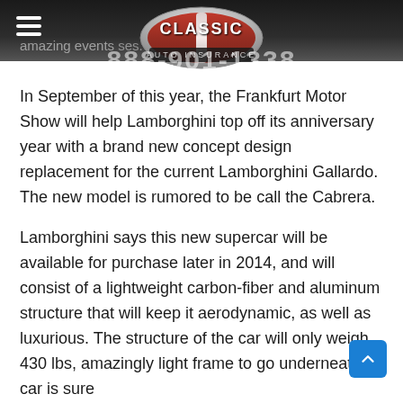Classic Auto Insurance — 888-901-1338
amazing events for its uses.
In September of this year, the Frankfurt Motor Show will help Lamborghini top off its anniversary year with a brand new concept design replacement for the current Lamborghini Gallardo. The new model is rumored to be call the Cabrera.
Lamborghini says this new supercar will be available for purchase later in 2014, and will consist of a lightweight carbon-fiber and aluminum structure that will keep it aerodynamic, as well as luxurious. The structure of the car will only weigh 430 lbs, amazingly light frame to go underneath a car is sure